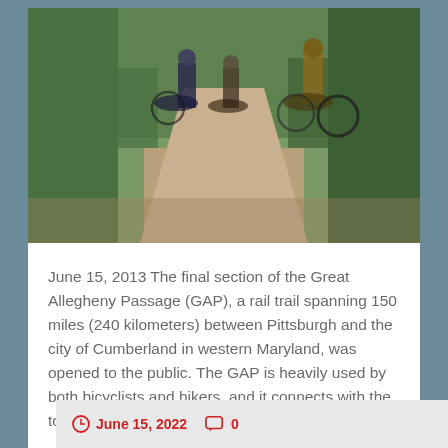[Figure (photo): Cyclists on a dirt trail path surrounded by trees and vegetation]
June 15, 2013 The final section of the Great Allegheny Passage (GAP), a rail trail spanning 150 miles (240 kilometers) between Pittsburgh and the city of Cumberland in western Maryland, was opened to the public. The GAP is heavily used by both bicyclists and hikers, and it connects with the towpath for the Chesapeake and...
Continue Reading →
June 15, 2022   0